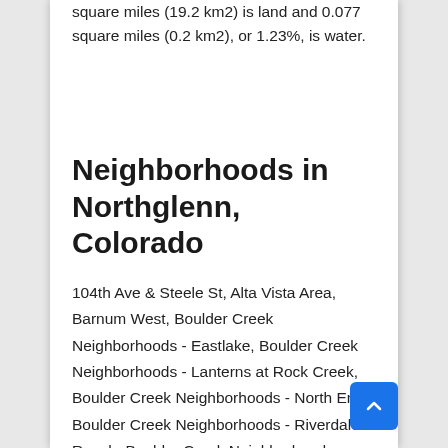square miles (19.2 km2) is land and 0.077 square miles (0.2 km2), or 1.23%, is water.
Neighborhoods in Northglenn, Colorado
104th Ave & Steele St, Alta Vista Area, Barnum West, Boulder Creek Neighborhoods - Eastlake, Boulder Creek Neighborhoods - Lanterns at Rock Creek, Boulder Creek Neighborhoods - North End, Boulder Creek Neighborhoods - Riverdale Ranch, Boulder Creek Neighborhoods - West Edge, Bradburn East, Capitol Hill United Neighborhoods, Chaffee Park, Club Crest, Cole, Cole Neighborhood Historic District, Cottages at